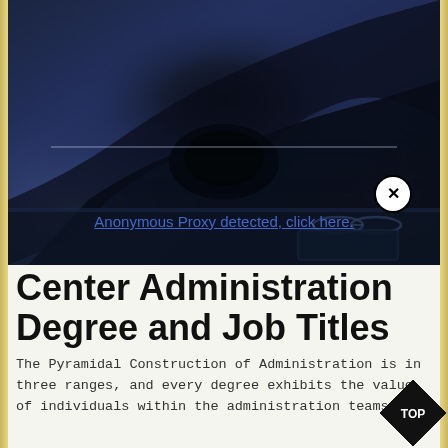[Figure (photo): Two people shaking hands in a dark blue-toned office setting, with glasses and a tablet/notebook on the desk in the background]
Anonymous Proxy detected, click here.
Center Administration Degree and Job Titles
The Pyramidal Construction of Administration is in three ranges, and every degree exhibits the value of individuals within the administration teams. Th